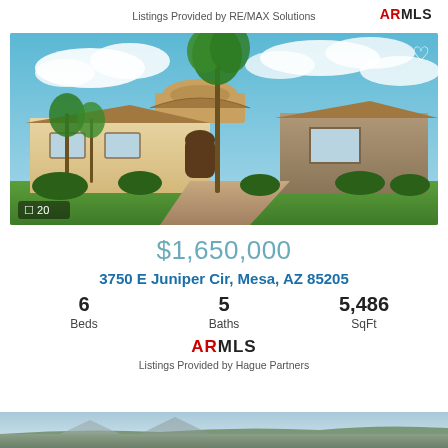Listings Provided by RE/MAX Solutions
[Figure (photo): Exterior photo of a large luxury home with Spanish/Mediterranean architecture, palm trees, stone accents, and a paved driveway. Photo count overlay shows 20 photos.]
$1,650,000
3750 E Juniper Cir, Mesa, AZ 85205
6 Beds   5 Baths   5,486 SqFt
Listings Provided by Hague Partners
[Figure (photo): Partial view of another property listing photo at the bottom of the page.]